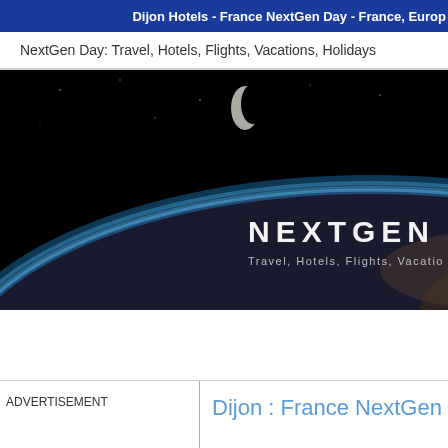Dijon Hotels - France NextGen Day - France, Europe
NextGen Day: Travel, Hotels, Flights, Vacations, Holidays
[Figure (photo): Hero banner image showing Earth from space with crescent moon above and text 'NEXTGEN Travel, Hotels, Flights, Vacatio...' overlaid on a black background with Earth's curved horizon lit in blue]
ADVERTISEMENT
Dijon : France NextGen